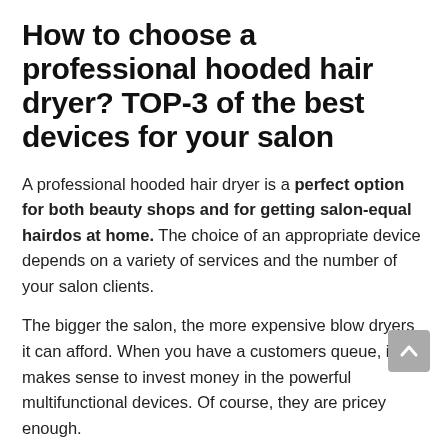How to choose a professional hooded hair dryer? TOP-3 of the best devices for your salon
A professional hooded hair dryer is a perfect option for both beauty shops and for getting salon-equal hairdos at home. The choice of an appropriate device depends on a variety of services and the number of your salon clients.
The bigger the salon, the more expensive blow dryers it can afford. When you have a customers queue, it makes sense to invest money in the powerful multifunctional devices. Of course, they are pricey enough.